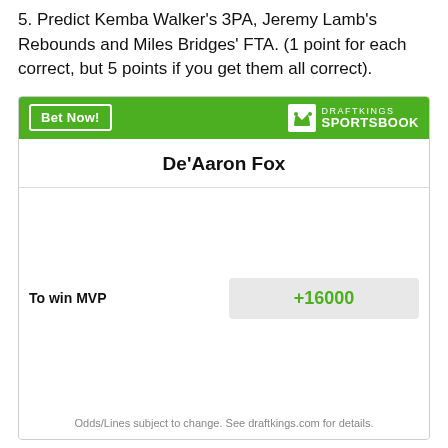5. Predict Kemba Walker's 3PA, Jeremy Lamb's Rebounds and Miles Bridges' FTA. (1 point for each correct, but 5 points if you get them all correct).
[Figure (other): DraftKings Sportsbook widget showing De'Aaron Fox with odds to win MVP at +16000. Green header with 'Bet Now!' button and DraftKings Sportsbook logo. Footer reads: Odds/Lines subject to change. See draftkings.com for details.]